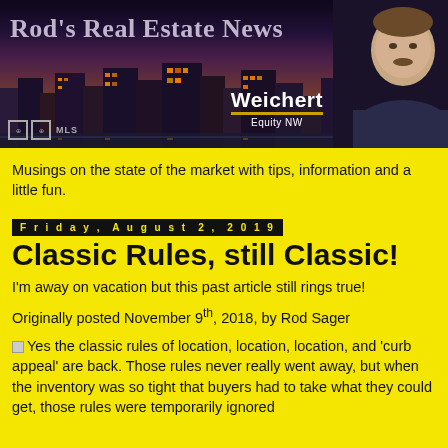Rod's Real Estate News
Musings on the state of the market with tips, information and a little fun.
Friday, August 2, 2019
Classic Rules, still Classic!
I'm away on vacation but this past article still rings true!
Originally posted November 9th, 2018, by Rod Sager
Yes the classic rules of location, location, location, and 'curb appeal' are back. Those rules never really went away, but when the inventory was so tight that buyers had to take what they could get, those rules were temporarily ignored